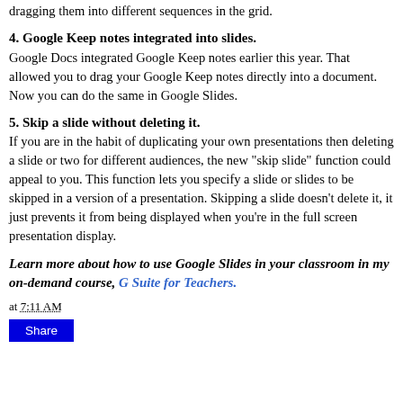dragging them into different sequences in the grid.
4. Google Keep notes integrated into slides.
Google Docs integrated Google Keep notes earlier this year. That allowed you to drag your Google Keep notes directly into a document. Now you can do the same in Google Slides.
5. Skip a slide without deleting it.
If you are in the habit of duplicating your own presentations then deleting a slide or two for different audiences, the new "skip slide" function could appeal to you. This function lets you specify a slide or slides to be skipped in a version of a presentation. Skipping a slide doesn't delete it, it just prevents it from being displayed when you're in the full screen presentation display.
Learn more about how to use Google Slides in your classroom in my on-demand course, G Suite for Teachers.
at 7:11 AM
Share